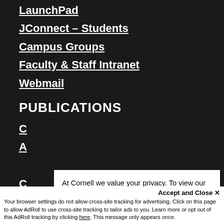LaunchPad
JConnect – Students
Campus Groups
Faculty & Staff Intranet
Webmail
PUBLICATIONS
C…
A…
S…
D…
N…
At Cornell we value your privacy. To view our university's privacy practices, including information use and third parties, visit University Privacy.
Thanks for letting me know
Accept and Close ✕
Your browser settings do not allow cross-site tracking for advertising. Click on this page to allow AdRoll to use cross-site tracking to tailor ads to you. Learn more or opt out of this AdRoll tracking by clicking here. This message only appears once.